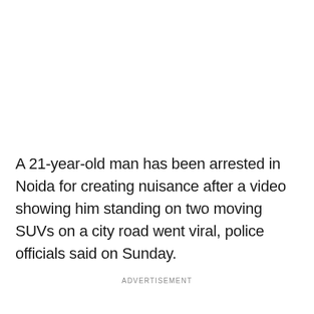A 21-year-old man has been arrested in Noida for creating nuisance after a video showing him standing on two moving SUVs on a city road went viral, police officials said on Sunday.
ADVERTISEMENT